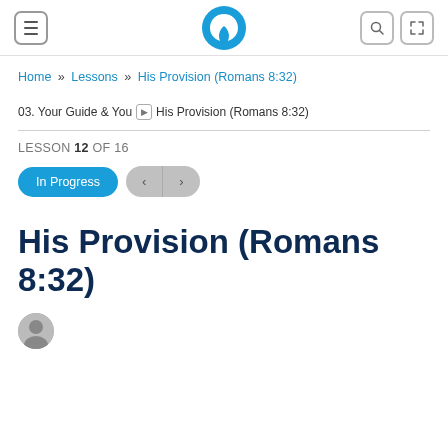Header with logo, menu, search, and fullscreen icons
Home » Lessons » His Provision (Romans 8:32)
03. Your Guide & You > His Provision (Romans 8:32)
LESSON 12 OF 16
In Progress  <  >
His Provision (Romans 8:32)